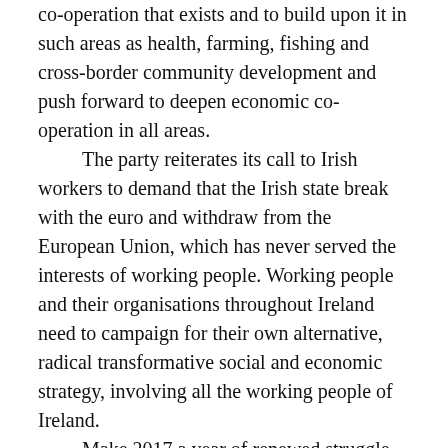co-operation that exists and to build upon it in such areas as health, farming, fishing and cross-border community development and push forward to deepen economic co-operation in all areas.
The party reiterates its call to Irish workers to demand that the Irish state break with the euro and withdraw from the European Union, which has never served the interests of working people. Working people and their organisations throughout Ireland need to campaign for their own alternative, radical transformative social and economic strategy, involving all the working people of Ireland.
Make 2017 a year of renewed struggle and resistance!
Roinn é seo: